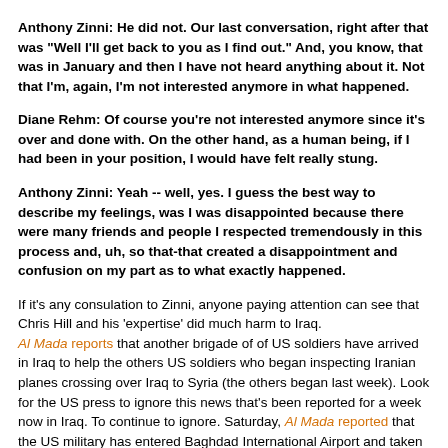Anthony Zinni: He did not. Our last conversation, right after that was "Well I'll get back to you as I find out." And, you know, that was in January and then I have not heard anything about it. Not that I'm, again, I'm not interested anymore in what happened.
Diane Rehm: Of course you're not interested anymore since it's over and done with. On the other hand, as a human being, if I had been in your position, I would have felt really stung.
Anthony Zinni: Yeah -- well, yes. I guess the best way to describe my feelings, was I was disappointed because there were many friends and people I respected tremendously in this process and, uh, so that-that created a disappointment and confusion on my part as to what exactly happened.
If it's any consulation to Zinni, anyone paying attention can see that Chris Hill and his 'expertise' did much harm to Iraq. Al Mada reports that another brigade of of US soldiers have arrived in Iraq to help the others US soldiers who began inspecting Iranian planes crossing over Iraq to Syria (the others began last week). Look for the US press to ignore this news that's been reported for a week now in Iraq. To continue to ignore. Saturday, Al Mada reported that the US military has entered Baghdad International Airport and taken over the inspection of all Iranian planes en route to Syria. In addition, the US is monitoring the Iraqi Centeral Bank (allegedly out of concern that funds are being